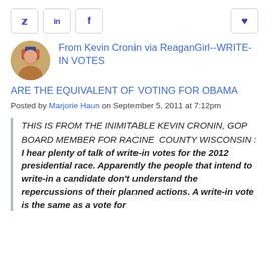[Figure (other): Social media sharing buttons: Twitter (bird icon), LinkedIn (in), Facebook (f), and a heart/favorite button on the right]
From Kevin Cronin via ReaganGirl--WRITE-IN VOTES ARE THE EQUIVALENT OF VOTING FOR OBAMA
Posted by Marjorie Haun on September 5, 2011 at 7:12pm
THIS IS FROM THE INIMITABLE KEVIN CRONIN, GOP BOARD MEMBER FOR RACINE COUNTY WISCONSIN : I hear plenty of talk of write-in votes for the 2012 presidential race. Apparently the people that intend to write-in a candidate don't understand the repercussions of their planned actions. A write-in vote is the same as a vote for Obama.